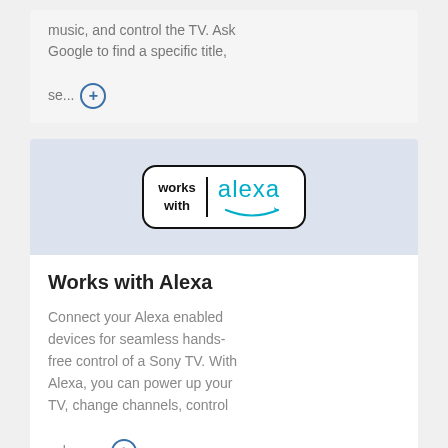music, and control the TV. Ask Google to find a specific title, se... [expand]
[Figure (logo): Works with Alexa badge logo — rounded rectangle with 'works with' text on left and 'alexa' in blue with Amazon smile arc on right]
Works with Alexa
Connect your Alexa enabled devices for seamless hands-free control of a Sony TV. With Alexa, you can power up your TV, change channels, control volume... [expand]
^ BACK TO TOP